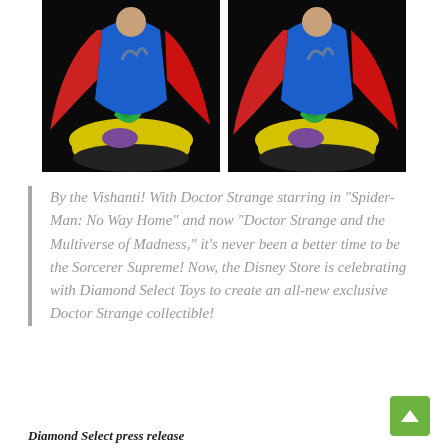[Figure (photo): Two side-by-side photos of a Doctor Strange collectible figurine showing a colorful sculpture with red cape, blue costume, green swirling energy, and yellow base, against a dark background.]
By the Vishanti! With Doctor Strange starring in “Spider-Man: No Way Home” and now “Doctor Strange and the Multiverse of Madness,” it’s never been a better time to be the Sorcerer Supreme! Now, the Disney Store is celebrating with Diamond Select Toys to create an all-new exclusive Doctor Strange collectible!
Diamond Select press release